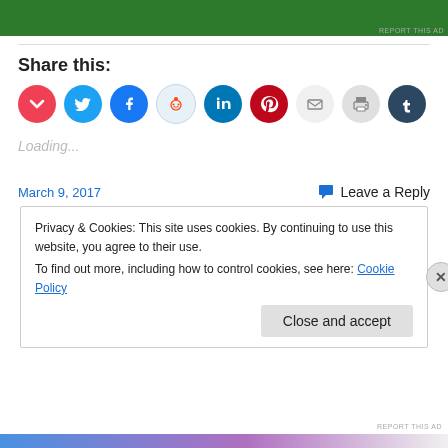[Figure (other): Green advertisement banner at top of page]
Share this:
[Figure (infographic): Row of social sharing icon circles: Pocket (red), Twitter (blue), Facebook (blue), Reddit (light blue), LinkedIn (dark blue), Pinterest (red), Email (gray), Print (gray), Tumblr (dark navy)]
Loading...
March 9, 2017
Leave a Reply
Privacy & Cookies: This site uses cookies. By continuing to use this website, you agree to their use.
To find out more, including how to control cookies, see here: Cookie Policy
Close and accept